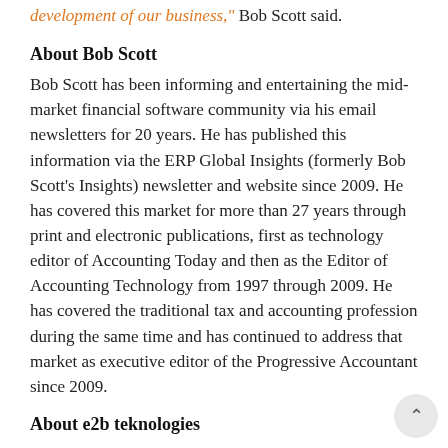development of our business," Bob Scott said.
About Bob Scott
Bob Scott has been informing and entertaining the mid-market financial software community via his email newsletters for 20 years. He has published this information via the ERP Global Insights (formerly Bob Scott's Insights) newsletter and website since 2009. He has covered this market for more than 27 years through print and electronic publications, first as technology editor of Accounting Today and then as the Editor of Accounting Technology from 1997 through 2009. He has covered the traditional tax and accounting profession during the same time and has continued to address that market as executive editor of the Progressive Accountant since 2009.
About e2b teknologies
e2b teknologies is a passionate and experienced team of industry leaders and business advisers providing high quality, uncomplicated, and innovative business